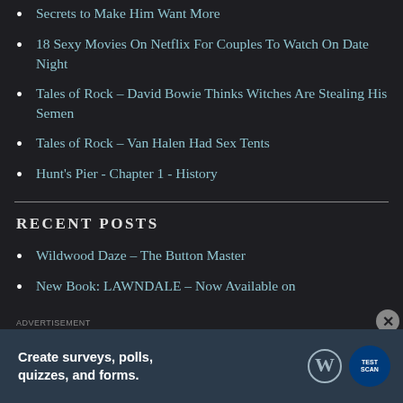Secrets to Make Him Want More
18 Sexy Movies On Netflix For Couples To Watch On Date Night
Tales of Rock - David Bowie Thinks Witches Are Stealing His Semen
Tales of Rock - Van Halen Had Sex Tents
Hunt's Pier - Chapter 1 - History
RECENT POSTS
Wildwood Daze – The Button Master
New Book: LAWNDALE – Now Available on
[Figure (screenshot): Advertisement banner: 'Create surveys, polls, quizzes, and forms.' with WordPress logo and a survey tool logo on dark starry background. Close button (X) visible top right of ad.]